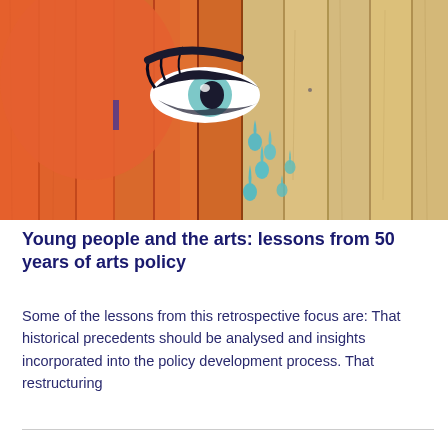[Figure (photo): Street art mural painted on wooden planks/fence boards showing a close-up of a woman's eye with teardrop shapes in teal/turquoise on an orange and wood-toned background.]
Young people and the arts: lessons from 50 years of arts policy
Some of the lessons from this retrospective focus are: That historical precedents should be analysed and insights incorporated into the policy development process. That restructuring